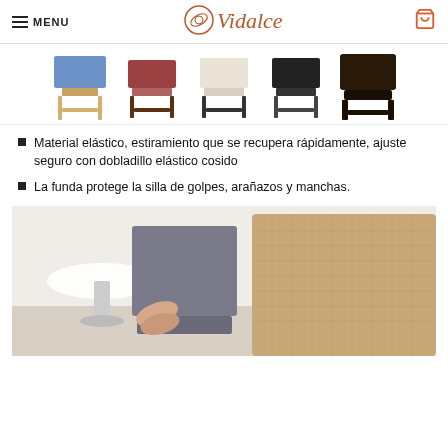MENU | Vidalce | [cart icon]
[Figure (photo): Row of 5 dining chairs with covers in different colors: blue, burgundy/red, cream/white, black, dark brown/black leather style]
Material elástico, estiramiento que se recupera rápidamente, ajuste seguro con dobladillo elástico cosido
La funda protege la silla de golpes, arañazos y manchas.
[Figure (photo): Hands fitting a grey elastic chair cover onto a dining chair, with a beige/tan covered chair visible on the right side, in a white room setting]